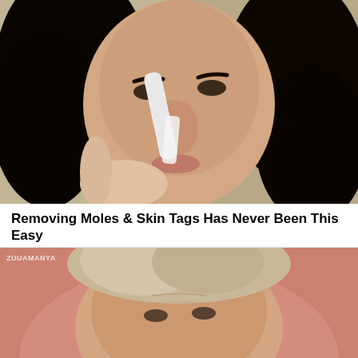[Figure (photo): Woman applying a white nose strip or skin treatment device to her nose, holding it with her hand. She has dark curly hair and appears to be demonstrating a mole or skin tag removal product.]
Removing Moles & Skin Tags Has Never Been This Easy
(Mole & Skin Tag Removal)
[Figure (photo): Older woman with blonde/silver hair against a pink background, partially visible, appearing to be part of a related advertisement.]